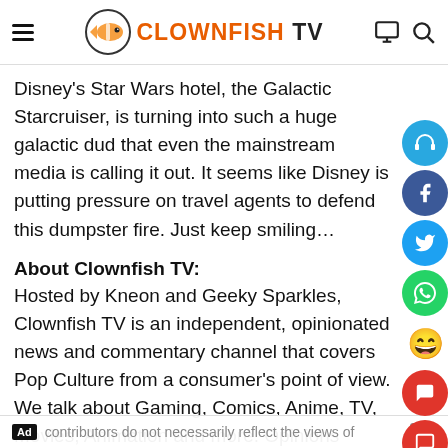Clownfish TV
Disney's Star Wars hotel, the Galactic Starcruiser, is turning into such a huge galactic dud that even the mainstream media is calling it out. It seems like Disney is putting pressure on travel agents to defend this dumpster fire. Just keep smiling...
About Clownfish TV:
Hosted by Kneon and Geeky Sparkles, Clownfish TV is an independent, opinionated news and commentary channel that covers Pop Culture from a consumer's point of view. We talk about Gaming, Comics, Anime, TV, Movies, Animation and more. Opinions expressed by contributors do not necessarily reflect the views of guests, affiliates, sponsors or advertisers. Clownfish